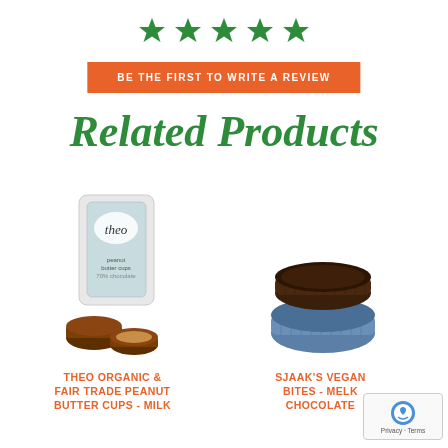[Figure (other): Five green star icons in a row indicating a rating]
BE THE FIRST TO WRITE A REVIEW
Related Products
[Figure (photo): Theo Organic peanut butter cups product bag with two unwrapped cups showing peanut butter filling]
THEO ORGANIC & FAIR TRADE PEANUT BUTTER CUPS - MILK
[Figure (photo): Sjaak's vegan chocolate bites in blue foil wrapper, two pieces stacked]
SJAAK'S VEGAN BITES - MELK CHOCOLATE